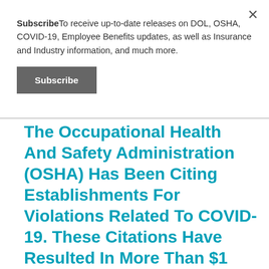SubscribeTo receive up-to-date releases on DOL, OSHA, COVID-19, Employee Benefits updates, as well as Insurance and Industry information, and much more.
Subscribe
The Occupational Health And Safety Administration (OSHA) Has Been Citing Establishments For Violations Related To COVID-19. These Citations Have Resulted In More Than $1 Million